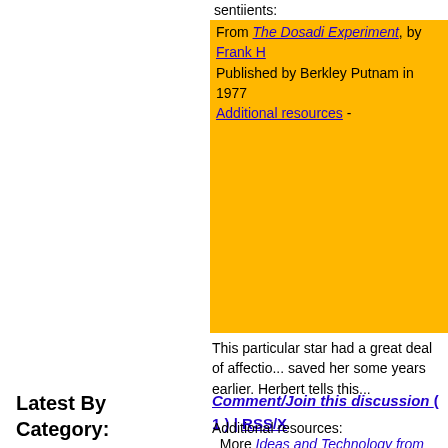sentiients:
From The Dosadi Experiment, by Frank H Published by Berkley Putnam in 1977
Additional resources -
This particular star had a great deal of affectio... saved her some years earlier. Herbert tells this...
Comment/Join this discussion ( 1 ) | RSS/X
Additional resources:
More Ideas and Technology from The Dosad...
Latest By Category: